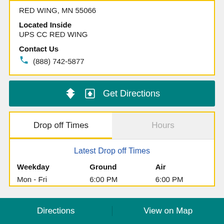RED WING, MN 55066
Located Inside
UPS CC RED WING
Contact Us
(888) 742-5877
Get Directions
Drop off Times
Hours
Latest Drop off Times
| Weekday | Ground | Air |
| --- | --- | --- |
| Mon - Fri | 6:00 PM | 6:00 PM |
Directions
View on Map